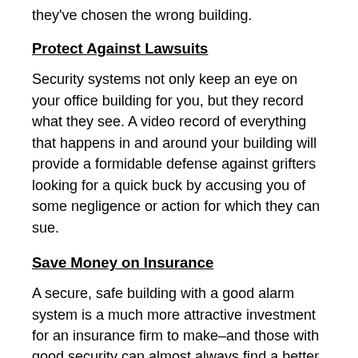they've chosen the wrong building.
Protect Against Lawsuits
Security systems not only keep an eye on your office building for you, but they record what they see. A video record of everything that happens in and around your building will provide a formidable defense against grifters looking for a quick buck by accusing you of some negligence or action for which they can sue.
Save Money on Insurance
A secure, safe building with a good alarm system is a much more attractive investment for an insurance firm to make–and those with good security can almost always find a better rate on a policy.